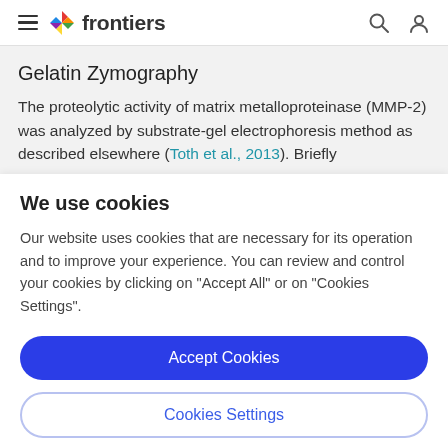frontiers
Gelatin Zymography
The proteolytic activity of matrix metalloproteinase (MMP-2) was analyzed by substrate-gel electrophoresis method as described elsewhere (Toth et al., 2013). Briefly
We use cookies
Our website uses cookies that are necessary for its operation and to improve your experience. You can review and control your cookies by clicking on "Accept All" or on "Cookies Settings".
Accept Cookies
Cookies Settings